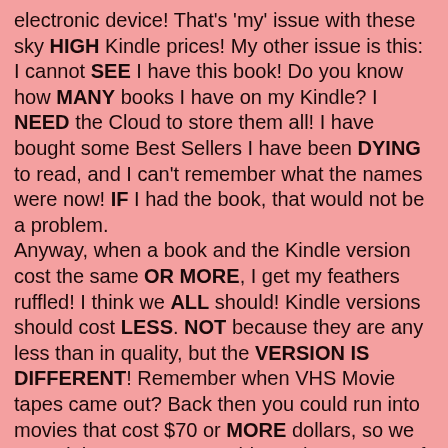electronic device! That's 'my' issue with these sky HIGH Kindle prices! My other issue is this: I cannot SEE I have this book! Do you know how MANY books I have on my Kindle? I NEED the Cloud to store them all! I have bought some Best Sellers I have been DYING to read, and I can't remember what the names were now! IF I had the book, that would not be a problem.
Anyway, when a book and the Kindle version cost the same OR MORE, I get my feathers ruffled! I think we ALL should! Kindle versions should cost LESS. NOT because they are any less than in quality, but the VERSION IS DIFFERENT! Remember when VHS Movie tapes came out? Back then you could run into movies that cost $70 or MORE dollars, so we rented them! No one would pay that amount of money for ANY movie! Thus, the Video Rental store was born. Are we now NOT to purchase books in the Kindle file format and 'borrow them from libraries'? I don't think the authors of the books would like this at all.
What DO we do about the prices of the Kindle books? This has been the question all along. From the day the Kindle publishing was born and 99 cent books came out. How do we price the Kindle books that makes EVERYONE